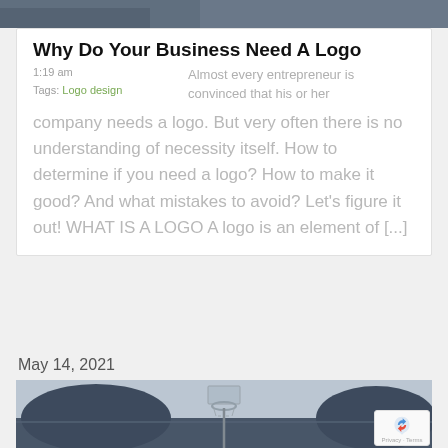[Figure (photo): Top portion of a photo showing a building or outdoor scene, partially cropped at top of page]
Why Do Your Business Need A Logo
1:19 am
Tags: Logo design
Almost every entrepreneur is convinced that his or her company needs a logo. But very often there is no understanding of necessity itself. How to determine if you need a logo? How to make it good? And what mistakes to avoid? Let's figure it out! WHAT IS A LOGO A logo is an element of [...]
May 14, 2021
[Figure (photo): Photo of a basketball hoop on an outdoor court with trees in the background, bluish-grey toned]